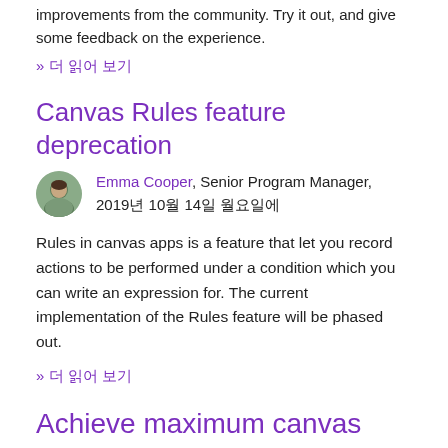improvements from the community. Try it out, and give some feedback on the experience.
» 더 읽어 보기
Canvas Rules feature deprecation
Emma Cooper, Senior Program Manager, 2019년 10월 14일 월요일에
Rules in canvas apps is a feature that let you record actions to be performed under a condition which you can write an expression for. The current implementation of the Rules feature will be phased out.
» 더 읽어 보기
Achieve maximum canvas app productivity with right click and keyboard shortcuts